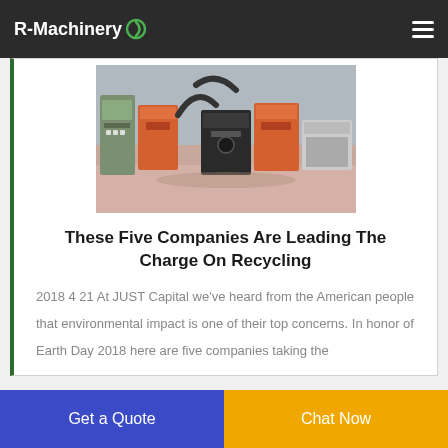R-Machinery
[Figure (photo): Industrial recycling machinery in a factory warehouse — multiple orange and black machines with conveyor systems and control panels on a concrete floor]
These Five Companies Are Leading The Charge On Recycling
2018 4 21 At JUST Capital we've heard from the American people that environmental impact is one of their top concerns. In honor of Earth Day 2018 here are five companies taking the
Get a Quote  |  Chat Now